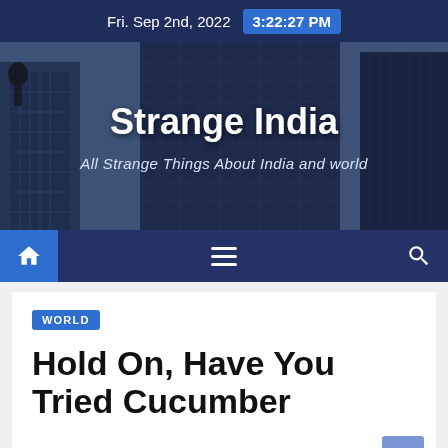Fri. Sep 2nd, 2022  3:22:27 PM
[Figure (photo): Strange India website banner with dark blue overlay on a city buildings photo. Large white bold text reads 'Strange India' with subtitle 'All Strange Things About India and world']
Strange India
All Strange Things About India and world
WORLD
Hold On, Have You Tried Cucumber